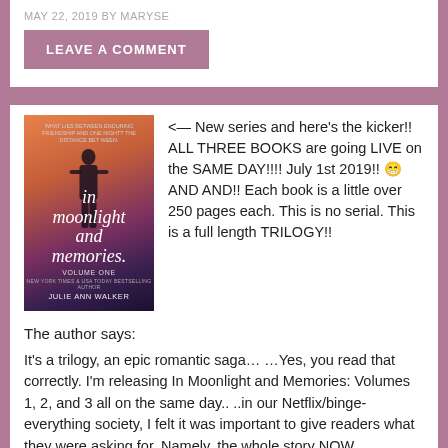MAY 22, 2019 BY MARYSE
LEAVE A COMMENT
[Figure (illustration): Book cover of 'In Moonlight and Memories: Volume One' by Julie Ann Walker. Shows a silhouette figure against a colorful sunset with trees.]
<— New series and here's the kicker!! ALL THREE BOOKS are going LIVE on the SAME DAY!!!! July 1st 2019!! 😁 AND AND!! Each book is a little over 250 pages each. This is no serial. This is a full length TRILOGY!!
The author says:
It's a trilogy, an epic romantic saga… …Yes, you read that correctly. I'm releasing In Moonlight and Memories: Volumes 1, 2, and 3 all on the same day.. ..in our Netflix/binge-everything society, I felt it was important to give readers what they were asking for. Namely, the whole story NOW.